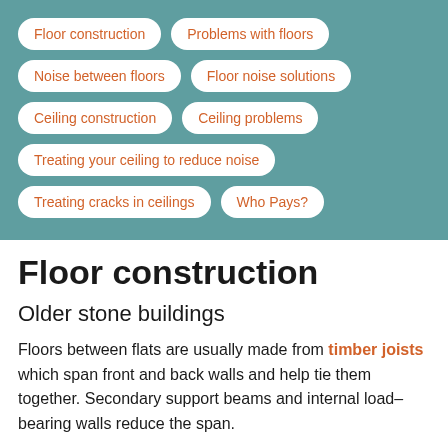Floor construction
Problems with floors
Noise between floors
Floor noise solutions
Ceiling construction
Ceiling problems
Treating your ceiling to reduce noise
Treating cracks in ceilings
Who Pays?
Floor construction
Older stone buildings
Floors between flats are usually made from timber joists which span front and back walls and help tie them together. Secondary support beams and internal load–bearing walls reduce the span.